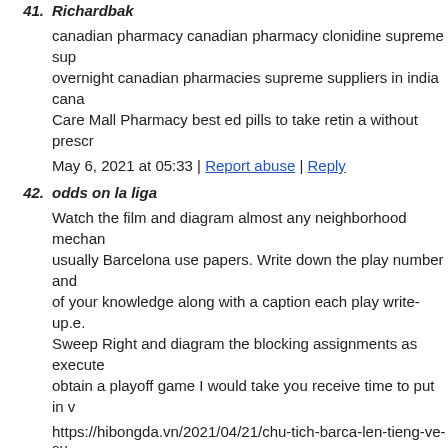41. Richardbak
canadian pharmacy canadian pharmacy clonidine supreme sup overnight canadian pharmacies supreme suppliers in india cana Care Mall Pharmacy best ed pills to take retin a without prescr
May 6, 2021 at 05:33 | Report abuse | Reply
42. odds on la liga
Watch the film and diagram almost any neighborhood mechan usually Barcelona use papers. Write down the play number and of your knowledge along with a caption each play write-up.e. Sweep Right and diagram the blocking assignments as execute obtain a playoff game I would take you receive time to put in v
https://hibongda.vn/2021/04/21/chu-tich-barca-len-tieng-ve-su
May 6, 2021 at 05:49 | Report abuse | Reply
43. Thomashig
canadian pharm support group
May 6, 2021 at 06:02 | Report abuse | Reply
44. DavidAdess
rhine inc generics